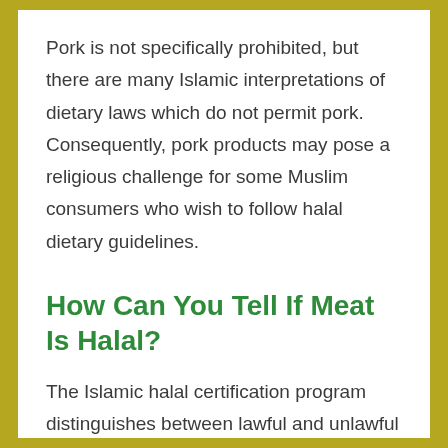Pork is not specifically prohibited, but there are many Islamic interpretations of dietary laws which do not permit pork. Consequently, pork products may pose a religious challenge for some Muslim consumers who wish to follow halal dietary guidelines.
How Can You Tell If Meat Is Halal?
The Islamic halal certification program distinguishes between lawful and unlawful animals, based on certain considerations such